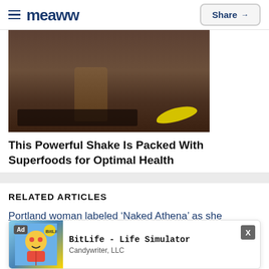meaww  Share
[Figure (photo): Photo of a protein shake container with banana and dark food pieces scattered around it on a dark surface]
This Powerful Shake Is Packed With Superfoods for Optimal Health
RELATED ARTICLES
Portland woman labeled ‘Naked Athena’ as she opposed cops throwing pepper bombs wearing only mask and beanie
Portlan... luding assault...
[Figure (screenshot): Ad overlay: BitLife - Life Simulator by Candywriter, LLC with game character illustration]